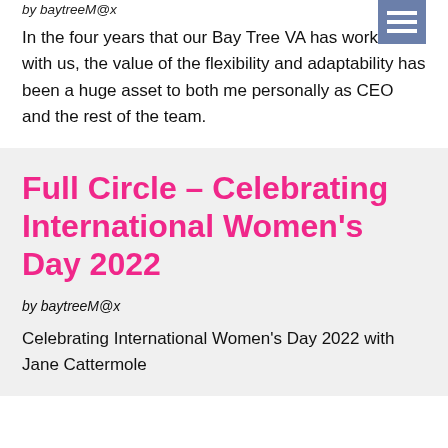by baytreeM@x
In the four years that our Bay Tree VA has worked with us, the value of the flexibility and adaptability has been a huge asset to both me personally as CEO and the rest of the team.
Full Circle – Celebrating International Women's Day 2022
by baytreeM@x
Celebrating International Women's Day 2022 with Jane Cattermole